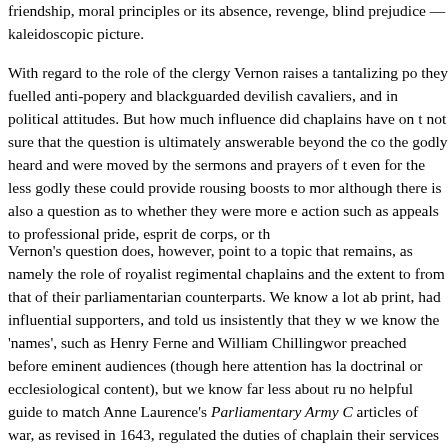friendship, moral principles or its absence, revenge, blind prejudice — kaleidoscopic picture.
With regard to the role of the clergy Vernon raises a tantalizing po they fuelled anti-popery and blackguarded devilish cavaliers, and in political attitudes. But how much influence did chaplains have on t not sure that the question is ultimately answerable beyond the co the godly heard and were moved by the sermons and prayers of t even for the less godly these could provide rousing boosts to mor although there is also a question as to whether they were more e action such as appeals to professional pride, esprit de corps, or th
Vernon's question does, however, point to a topic that remains, as namely the role of royalist regimental chaplains and the extent to from that of their parliamentarian counterparts. We know a lot ab print, had influential supporters, and told us insistently that they w we know the 'names', such as Henry Ferne and William Chillingwor preached before eminent audiences (though here attention has la doctrinal or ecclesiological content), but we know far less about ru no helpful guide to match Anne Laurence's Parliamentary Army C articles of war, as revised in 1643, regulated the duties of chaplain their services and sermons, in far more detail than did parliamenta